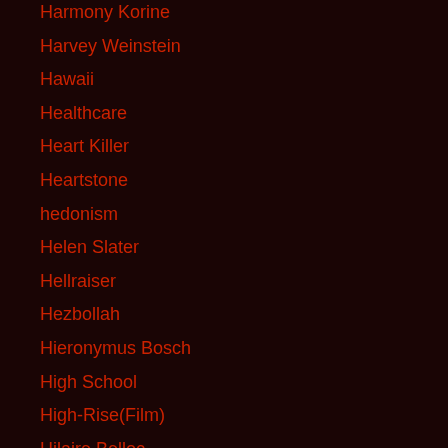Harmony Korine
Harvey Weinstein
Hawaii
Healthcare
Heart Killer
Heartstone
hedonism
Helen Slater
Hellraiser
Hezbollah
Hieronymus Bosch
High School
High-Rise(Film)
Hilaire Belloc
Hillary Clinton